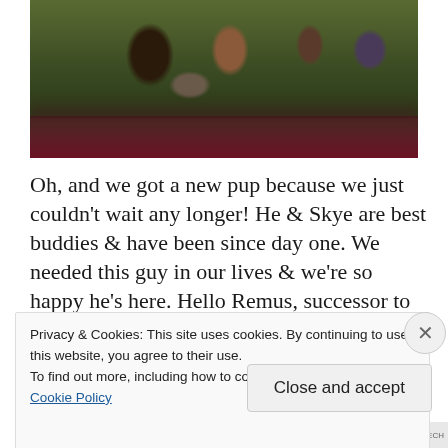[Figure (photo): Outdoor photo of a group of people sitting together on grass/porch steps with dogs, taken at golden hour. Bottom portion of image is blurred with a dark reddish-maroon overlay.]
Oh, and we got a new pup because we just couldn't wait any longer! He & Skye are best buddies & have been since day one. We needed this guy in our lives & we're so happy he's here. Hello Remus, successor to Romulus, aka Remy!
Privacy & Cookies: This site uses cookies. By continuing to use this website, you agree to their use.
To find out more, including how to control cookies, see here: Cookie Policy
Close and accept